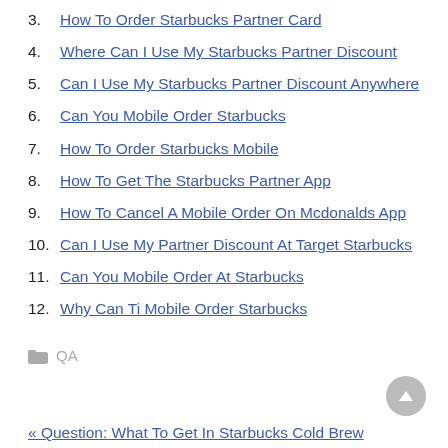3. How To Order Starbucks Partner Card
4. Where Can I Use My Starbucks Partner Discount
5. Can I Use My Starbucks Partner Discount Anywhere
6. Can You Mobile Order Starbucks
7. How To Order Starbucks Mobile
8. How To Get The Starbucks Partner App
9. How To Cancel A Mobile Order On Mcdonalds App
10. Can I Use My Partner Discount At Target Starbucks
11. Can You Mobile Order At Starbucks
12. Why Can Ti Mobile Order Starbucks
QA
« Question: What To Get In Starbucks Cold Brew